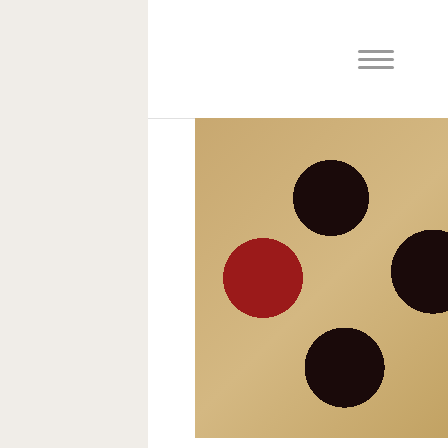≡
[Figure (photo): Close-up photo of dark Bing cherries placed on top of a pale golden cake batter or dough, with a copyright watermark reading '© 2014 Baked Chicago']
I like to serve this cake while it's still warm. The chocolate, cherries and rum make for a seriously decadent flavor combination. Fresh Bing cherries and Caribbean spiced rum. Now that's what summer should taste like!
[Figure (photo): Photo of a slice of chocolate-glazed cherry rum cake with Captain Morgan spiced rum bottle visible in the background, with a copyright watermark reading '© 2014 Baked Chicago']